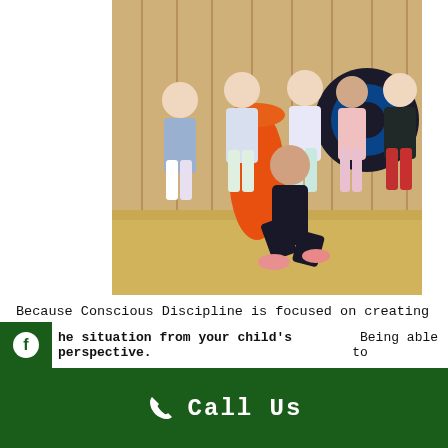[Figure (photo): Six young children playing outdoors on wood chip ground in front of a wooden fence, with an orange barrel and a large tire in the background. One child in dark clothing is in a playful crouching pose in the foreground.]
Because Conscious Discipline is focused on creating strong relationships, parents and caregivers can participate as well. Here are some ways you can use Conscious Discipline at home:
the situation from your child's perspective. Being able to
Call Us